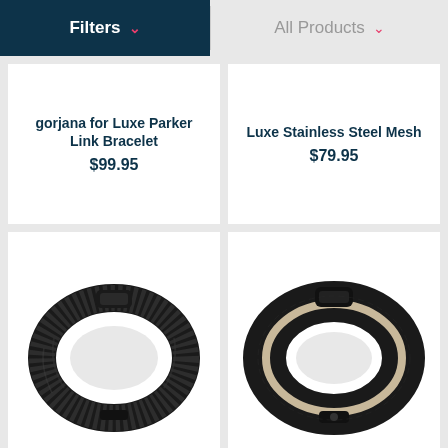Filters   All Products
gorjana for Luxe Parker Link Bracelet
$99.95
Luxe Stainless Steel Mesh
$79.95
[Figure (photo): Dark woven/textured band fitness tracker bracelet, viewed from front at slight angle]
[Figure (photo): Double-wrap dark leather band fitness tracker bracelet with light-colored interior, viewed from front at slight angle]